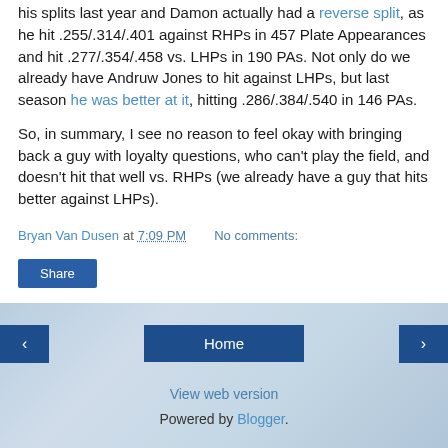his splits last year and Damon actually had a reverse split, as he hit .255/.314/.401 against RHPs in 457 Plate Appearances and hit .277/.354/.458 vs. LHPs in 190 PAs. Not only do we already have Andruw Jones to hit against LHPs, but last season he was better at it, hitting .286/.384/.540 in 146 PAs.
So, in summary, I see no reason to feel okay with bringing back a guy with loyalty questions, who can't play the field, and doesn't hit that well vs. RHPs (we already have a guy that hits better against LHPs).
Bryan Van Dusen at 7:09 PM   No comments:
Share
[Figure (screenshot): Blog footer navigation with previous/home/next buttons, View web version link, and Powered by Blogger text on a light blue background.]